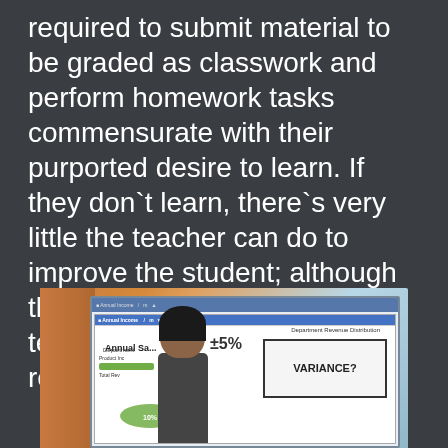required to submit material to be graded as classwork and perform homework tasks commensurate with their purported desire to learn. If they don`t learn, there`s very little the teacher can do to improve the student; although the onus is always on the teacher to improve beyond all recognition.
[Figure (photo): A person standing in front of a computer screen/whiteboard showing a spreadsheet with 'Annual Sales' data and a handwritten note saying '±5%' with an arrow pointing to 'VARIANCE?' written on a whiteboard.]